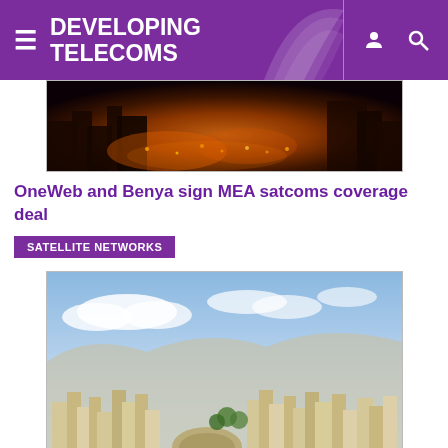DEVELOPING TELECOMS
[Figure (photo): Night cityscape with lights and buildings, partially visible at top]
OneWeb and Benya sign MEA satcoms coverage deal
SATELLITE NETWORKS
[Figure (photo): Aerial view of a Middle Eastern city with hillside buildings, ancient amphitheatre, and blue sky]
Western Union and Zain Cash bring cross-border